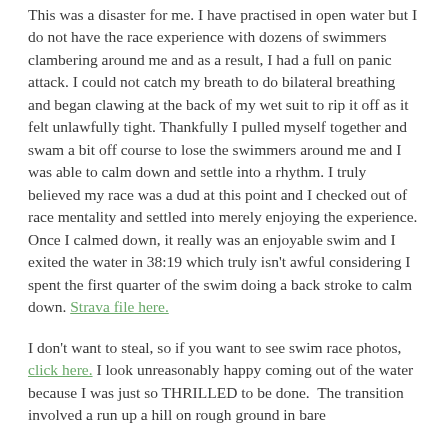This was a disaster for me. I have practised in open water but I do not have the race experience with dozens of swimmers clambering around me and as a result, I had a full on panic attack. I could not catch my breath to do bilateral breathing and began clawing at the back of my wet suit to rip it off as it felt unlawfully tight. Thankfully I pulled myself together and swam a bit off course to lose the swimmers around me and I was able to calm down and settle into a rhythm. I truly believed my race was a dud at this point and I checked out of race mentality and settled into merely enjoying the experience. Once I calmed down, it really was an enjoyable swim and I exited the water in 38:19 which truly isn't awful considering I spent the first quarter of the swim doing a back stroke to calm down. Strava file here.
I don't want to steal, so if you want to see swim race photos, click here. I look unreasonably happy coming out of the water because I was just so THRILLED to be done.  The transition involved a run up a hill on rough ground in bare